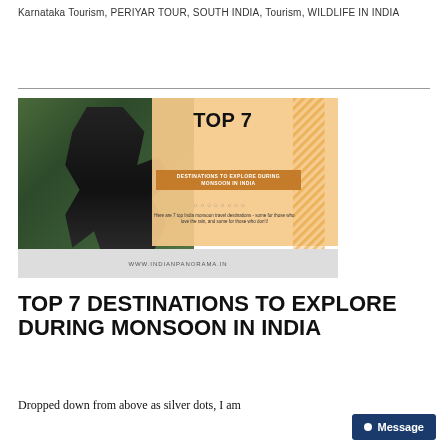Karnataka Tourism, PERIYAR TOUR, SOUTH INDIA, Tourism, WILDLIFE IN INDIA
[Figure (photo): Promotional blog image for 'Top 7 Destinations to Explore During Monsoon in India' showing a person in the rain with an orange/peach graphic overlay panel and diagonal stripe design, with website URL www.indianpanorama.in at bottom]
TOP 7 DESTINATIONS TO EXPLORE DURING MONSOON IN INDIA
Dropped down from above as silver dots, I am